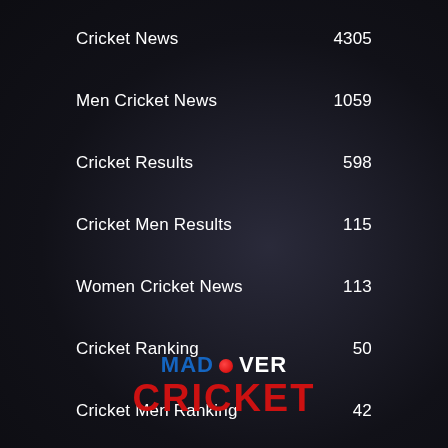Cricket News  4305
Men Cricket News  1059
Cricket Results  598
Cricket Men Results  115
Women Cricket News  113
Cricket Ranking  50
Cricket Men Ranking  42
Cricket Women Results  29
Other Stories  28
Cricket Women Ranking  16
[Figure (logo): Mad Over Cricket logo with blue MAD text, red cricket ball, white OVER text, and red CRICKET text below]